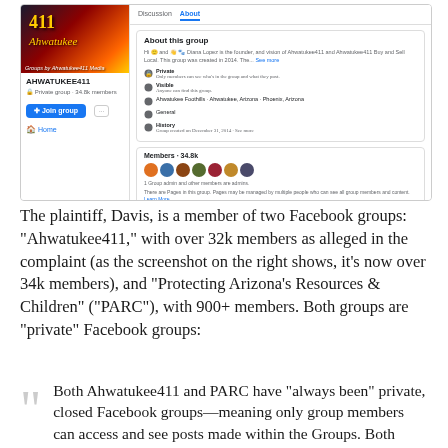[Figure (screenshot): Screenshot of the Facebook group 'Ahwatukee411' page showing the group banner with colorful graffiti-style text, group details panel on left, and 'About' tab panel on right showing group description, privacy settings (Private), visibility (Visible), location (Ahwatukee Foothills - Ahwatukee, Arizona - Phoenix, Arizona), General category, History, and Members section with avatars.]
The plaintiff, Davis, is a member of two Facebook groups: "Ahwatukee411," with over 32k members as alleged in the complaint (as the screenshot on the right shows, it's now over 34k members), and "Protecting Arizona's Resources & Children" ("PARC"), with 900+ members. Both groups are "private" Facebook groups:
Both Ahwatukee411 and PARC have "always been" private, closed Facebook groups—meaning only group members can access and see posts made within the Groups. Both Groups require prospective members to undergo a screening